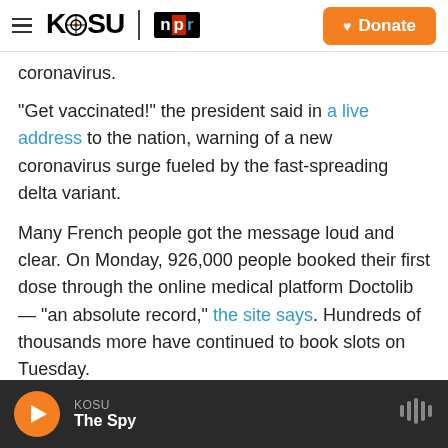KOSU | NPR   Donate
coronavirus.
"Get vaccinated!" the president said in a live address to the nation, warning of a new coronavirus surge fueled by the fast-spreading delta variant.
Many French people got the message loud and clear. On Monday, 926,000 people booked their first dose through the online medical platform Doctolib — "an absolute record," the site says. Hundreds of thousands more have continued to book slots on Tuesday.
KOSU | The Spy